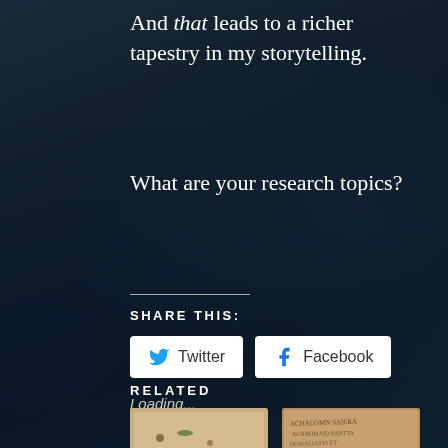And that leads to a richer tapestry in my storytelling.
What are your research topics?
SHARE THIS:
[Figure (screenshot): Twitter share button (white rounded rectangle with Twitter bird icon and 'Twitter' label)]
[Figure (screenshot): Facebook share button (white rounded rectangle with Facebook 'f' icon and 'Facebook' label)]
Loading...
RELATED
[Figure (photo): Related article thumbnail: natural objects/specimens on light background]
[Figure (photo): Related article thumbnail: handwritten text on aged parchment/paper]